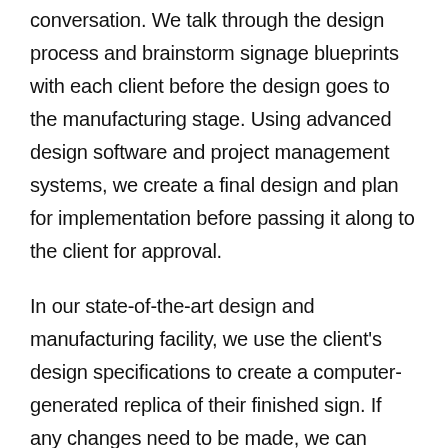conversation. We talk through the design process and brainstorm signage blueprints with each client before the design goes to the manufacturing stage. Using advanced design software and project management systems, we create a final design and plan for implementation before passing it along to the client for approval.
In our state-of-the-art design and manufacturing facility, we use the client's design specifications to create a computer-generated replica of their finished sign. If any changes need to be made, we can make those changes quickly and easily until the client is satisfied with the preliminary design.
We also take every measure to ensure that your desired